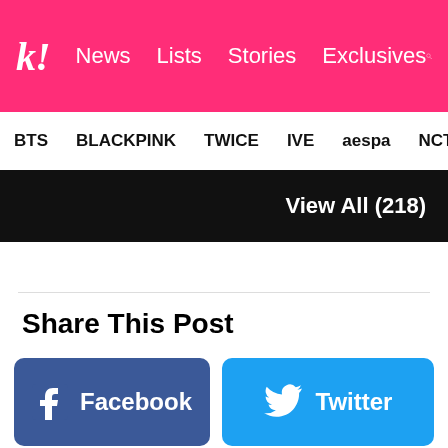k! News Lists Stories Exclusives
BTS BLACKPINK TWICE IVE aespa NCT NewJ
View All (218)
Share This Post
Facebook
Twitter
FOR YOU